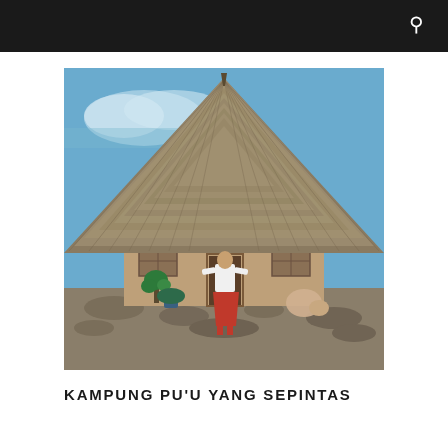[Figure (photo): A person wearing a white shirt and red sarong stands in front of a traditional thatched-roof round house (uma lulik) with stone walls, wooden windows, and small plants around the entrance, under a blue sky.]
KAMPUNG PU'U YANG SEPINTAS